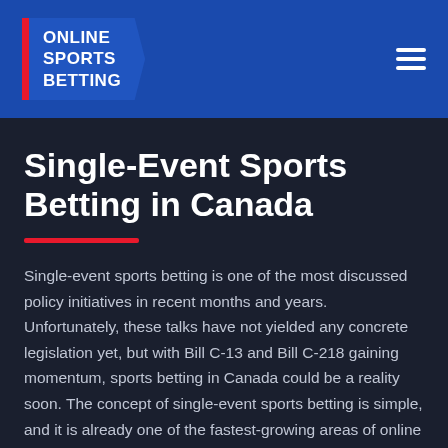ONLINE SPORTS BETTING
Single-Event Sports Betting in Canada
Single-event sports betting is one of the most discussed policy initiatives in recent months and years. Unfortunately, these talks have not yielded any concrete legislation yet, but with Bill C-13 and Bill C-218 gaining momentum, sports betting in Canada could be a reality soon. The concept of single-event sports betting is simple, and it is already one of the fastest-growing areas of online gaming entertainment, so this guide breaks down what it is, and how new legislation will change